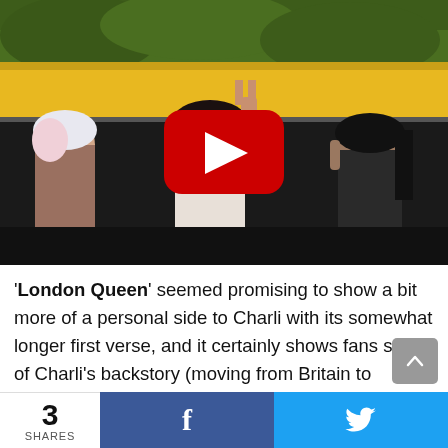[Figure (screenshot): YouTube video thumbnail showing young women leaning out of a school bus window, one making a peace sign and shouting, with a YouTube red play button overlay in the center.]
'London Queen' seemed promising to show a bit more of a personal side to Charli with its somewhat longer first verse, and it certainly shows fans some of Charli's backstory (moving from Britain to America to
[Figure (other): Social sharing bar at bottom showing '3 SHARES', Facebook share button, and Twitter share button]